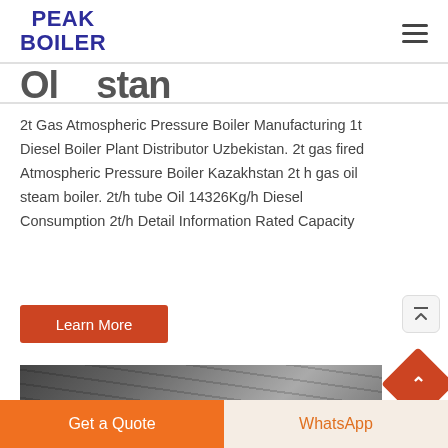PEAK BOILER
Ol... stan
2t Gas Atmospheric Pressure Boiler Manufacturing 1t Diesel Boiler Plant Distributor Uzbekistan. 2t gas fired Atmospheric Pressure Boiler Kazakhstan 2t h gas oil steam boiler. 2t/h tube Oil 14326Kg/h Diesel Consumption 2t/h Detail Information Rated Capacity
[Figure (screenshot): Industrial boiler facility photo, partially visible at bottom of page]
Get a Quote | WhatsApp